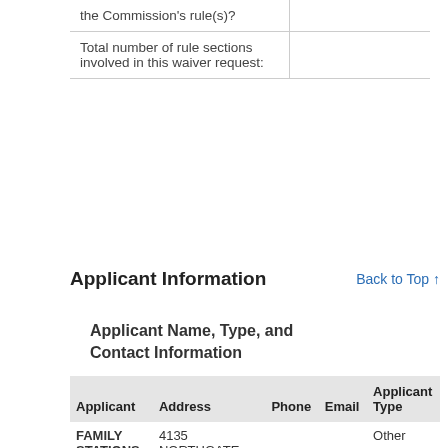|  |  |
| --- | --- |
| the Commission's rule(s)? |  |
| Total number of rule sections involved in this waiver request: |  |
Applicant Information
Back to Top ↑
Applicant Name, Type, and Contact Information
| Applicant | Address | Phone | Email | Applicant Type |
| --- | --- | --- | --- | --- |
| FAMILY STATIONS, INC.
Applicant
Doing | 4135 NORTHGATE BLVD #1
SACRAMENTO, CA 95834 |  |  | Other |